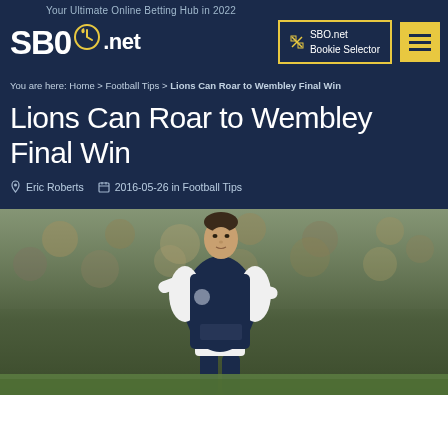Your Ultimate Online Betting Hub in 2022
[Figure (logo): SBO.net logo with timer/heart icon in dark navy header]
SBO.net Bookie Selector
Lions Can Roar to Wembley Final Win
You are here: Home > Football Tips > Lions Can Roar to Wembley Final Win
Eric Roberts  2016-05-26 in Football Tips
[Figure (photo): Football player in dark navy Millwall kit running on pitch with blurred crowd in background]